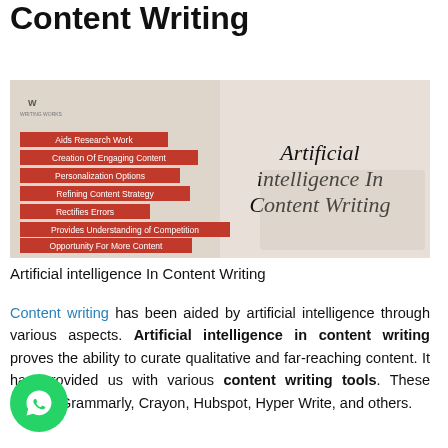Artificial Intelligence In Content Writing
[Figure (infographic): Infographic banner showing 'Artificial intelligence In Content Writing' with red bullet labels: Aids Research Work, Creation Of Engaging Content, Personalization Options, Refining Content Strategy, Rectifies Errors, Provides Understanding of Competition, Opportunity For More Content. Background shows a person reading/writing.]
Artificial intelligence In Content Writing
Content writing has been aided by artificial intelligence through various aspects. Artificial intelligence in content writing proves the ability to curate qualitative and far-reaching content. It has provided us with various content writing tools. These include Grammarly, Crayon, Hubspot, Hyper Write, and others.